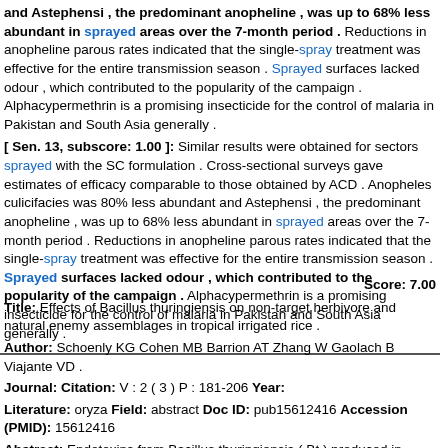and Astephensi , the predominant anopheline , was up to 68% less abundant in sprayed areas over the 7-month period . Reductions in anopheline parous rates indicated that the single-spray treatment was effective for the entire transmission season . Sprayed surfaces lacked odour , which contributed to the popularity of the campaign . Alphacypermethrin is a promising insecticide for the control of malaria in Pakistan and South Asia generally .
[ Sen. 13, subscore: 1.00 ]: Similar results were obtained for sectors sprayed with the SC formulation . Cross-sectional surveys gave estimates of efficacy comparable to those obtained by ACD . Anopheles culicifacies was 80% less abundant and Astephensi , the predominant anopheline , was up to 68% less abundant in sprayed areas over the 7-month period . Reductions in anopheline parous rates indicated that the single-spray treatment was effective for the entire transmission season . Sprayed surfaces lacked odour , which contributed to the popularity of the campaign . Alphacypermethrin is a promising insecticide for the control of malaria in Pakistan and South Asia generally .
Score: 7.00
Title: Effects of Bacillus thuringiensis on non-target herbivore and natural enemy assemblages in tropical irrigated rice .
Author: Schoenly KG Cohen MB Barrion AT Zhang W Gaolach B Viajante VD .
Journal: Citation: V : 2 ( 3 ) P : 181-206 Year:
Literature: oryza Field: abstract Doc ID: pub15612416 Accession (PMID): 15612416
Abstract: Endotoxins from Bacillus thuringiensis ( Bt ) produced in transgenic pest-resistant Bt crops are generally not toxic to predatory